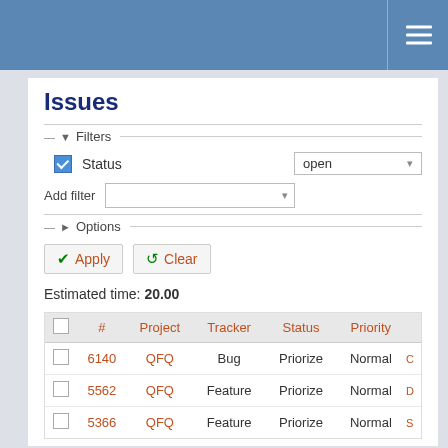Issues
Filters
Status  open
Add filter
Options
Apply   Clear
Estimated time: 20.00
|  | # | Project | Tracker | Status | Priority |
| --- | --- | --- | --- | --- | --- |
|  | 6140 | QFQ | Bug | Priorize | Normal |
|  | 5562 | QFQ | Feature | Priorize | Normal |
|  | 5366 | QFQ | Feature | Priorize | Normal |